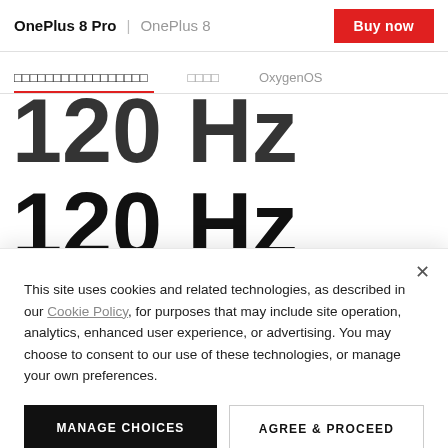OnePlus 8 Pro | OnePlus 8   Buy now
□□□□□□□□□□□□□□□□□   □□□□   OxygenOS
[Figure (photo): Large text showing '120 Hz' repeated three times in bold black letters on white background, partially cropped, showing three rows of '120 Hz']
This site uses cookies and related technologies, as described in our Cookie Policy, for purposes that may include site operation, analytics, enhanced user experience, or advertising. You may choose to consent to our use of these technologies, or manage your own preferences.
MANAGE CHOICES
AGREE & PROCEED